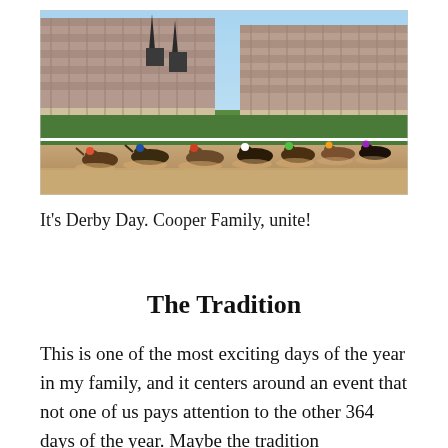[Figure (photo): Horse racing at Churchill Downs during the Kentucky Derby. Large grandstand packed with spectators in the background, with twin spires visible. Multiple horses with jockeys racing on a dirt track in the foreground, kicking up dust.]
It's Derby Day. Cooper Family, unite!
The Tradition
This is one of the most exciting days of the year in my family, and it centers around an event that not one of us pays attention to the other 364 days of the year. Maybe the tradition...